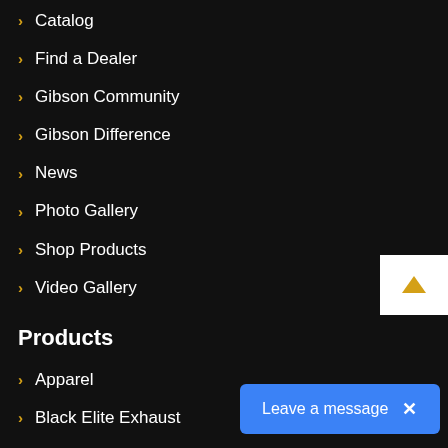Catalog
Find a Dealer
Gibson Community
Gibson Difference
News
Photo Gallery
Shop Products
Video Gallery
Products
Apparel
Black Elite Exhaust
Diesel
Headers
Jeep